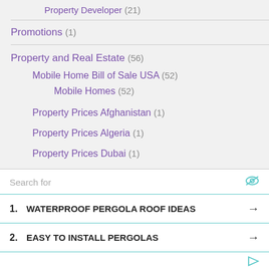Property Developer (21)
Promotions (1)
Property and Real Estate (56)
Mobile Home Bill of Sale USA (52)
Mobile Homes (52)
Property Prices Afghanistan (1)
Property Prices Algeria (1)
Property Prices Dubai (1)
Property Prices Spain (1)
Property Prices UAE (1)
Search for
1. WATERPROOF PERGOLA ROOF IDEAS →
2. EASY TO INSTALL PERGOLAS →